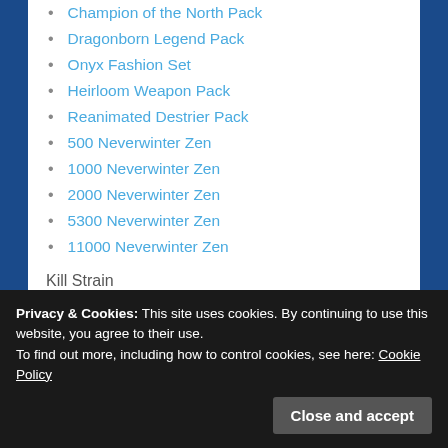Champion of the North Pack
Dragonborn Legend Pack
Onyx Fashion Set
Heirloom Weapon Pack
Reanimated Destrier Pack
500 Neverwinter Zen
1000 Neverwinter Zen
2000 Neverwinter Zen
5300 Neverwinter Zen
11000 Neverwinter Zen
Kill Strain
Corporation Pack
500 Gold
1100 Gold
2400 Gold
Privacy & Cookies: This site uses cookies. By continuing to use this website, you agree to their use.
To find out more, including how to control cookies, see here: Cookie Policy
Close and accept